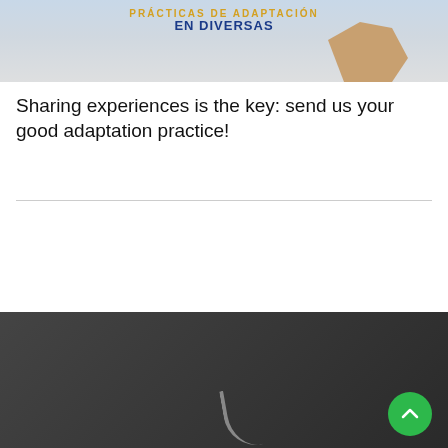[Figure (photo): Top image showing text with 'EN DIVERSA9' and a hand writing, light blue/grey background]
Sharing experiences is the key: send us your good adaptation practice!
[Figure (other): Bookmark icon and date badge showing 26 JAN in green]
READ MORE
[Figure (photo): Dark grey/charcoal bottom image with partial curved shape visible, and green scroll-to-top button]